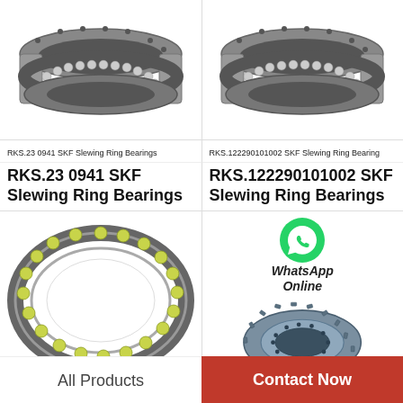[Figure (illustration): RKS.23 0941 SKF Slewing Ring Bearing - 3D rendered product image, dark grey ring bearing with ball elements visible]
[Figure (illustration): RKS.122290101002 SKF Slewing Ring Bearing - 3D rendered product image, similar dark grey ring bearing]
RKS.23 0941 SKF Slewing Ring Bearings
RKS.122290101002 SKF Slewing Ring Bearing
RKS.23 0941 SKF Slewing Ring Bearings
RKS.122290101002 SKF Slewing Ring Bearings
[Figure (photo): Large thin-section slewing ring bearing with yellow/green ball elements, viewed from slightly above, silver/steel color]
[Figure (photo): Slewing ring bearing with gear teeth on outer edge, blue/grey color, with WhatsApp Online icon overlay]
WhatsApp Online
All Products
Contact Now